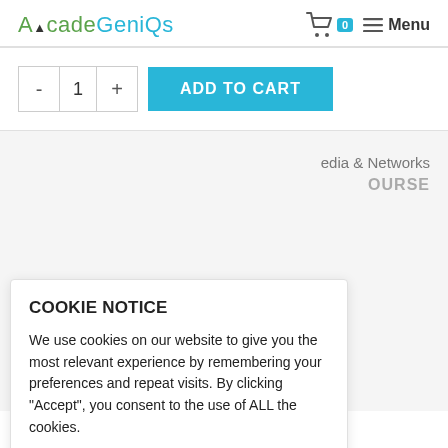AcadeGeniQs — Menu (cart: 0)
- 1 +  ADD TO CART
edia & Networks
OURSE
COOKIE NOTICE
We use cookies on our website to give you the most relevant experience by remembering your preferences and repeat visits. By clicking "Accept", you consent to the use of ALL the cookies.
PRIVACY POLICY   ACCEPT
Reviews